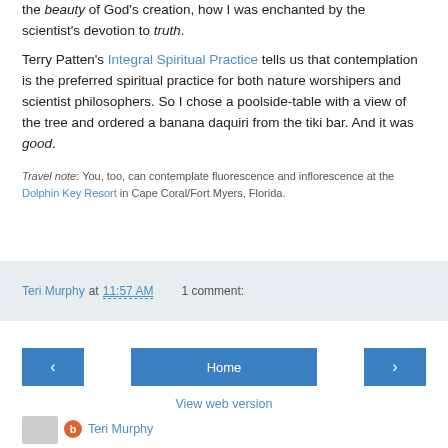the beauty of God's creation, how I was enchanted by the scientist's devotion to truth.
Terry Patten's Integral Spiritual Practice tells us that contemplation is the preferred spiritual practice for both nature worshipers and scientist philosophers. So I chose a poolside-table with a view of the tree and ordered a banana daquiri from the tiki bar. And it was good.
Travel note: You, too, can contemplate fluorescence and inflorescence at the Dolphin Key Resort in Cape Coral/Fort Myers, Florida.
Teri Murphy at 11:57 AM   1 comment:
Home
View web version
Teri Murphy